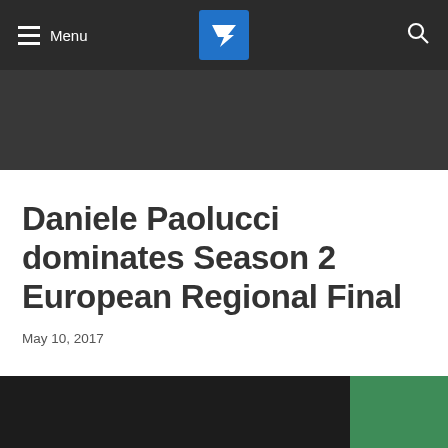Menu | [Logo] | [Search]
Daniele Paolucci dominates Season 2 European Regional Final
May 10, 2017
[Figure (photo): A person photographed, partially visible at the bottom of the page, with a dark background on the left and a green background on the right.]